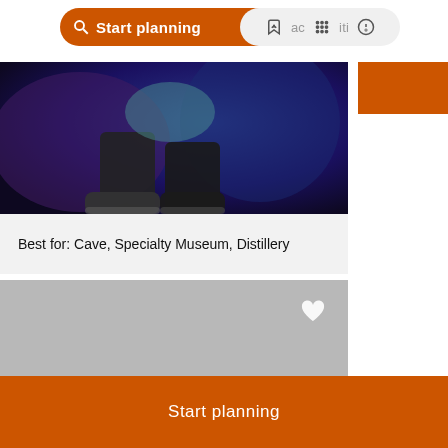Start planning  activities
[Figure (photo): Dark atmospheric photo showing persons' legs/feet in sneakers against a purple-dark cave or similar background]
Best for: Cave, Specialty Museum, Distillery
[Figure (photo): Gray placeholder card image for Mammoth Cave National Park with a white heart icon in the top right]
Mammoth Cave National Park
Start planning